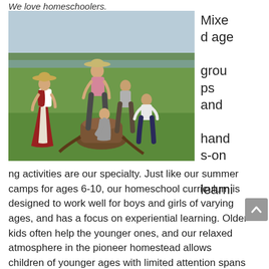We love homeschoolers.
[Figure (photo): Outdoor scene with children and an adult in pioneer/historical costume gathered around a tree stump in a green field, with trees and a lake or river in the background.]
Mixed age groups and hands-on learning activities are our specialty. Just like our summer camps for ages 6-10, our homeschool curriculum is designed to work well for boys and girls of varying ages, and has a focus on experiential learning. Older kids often help the younger ones, and our relaxed atmosphere in the pioneer homestead allows children of younger ages with limited attention spans to